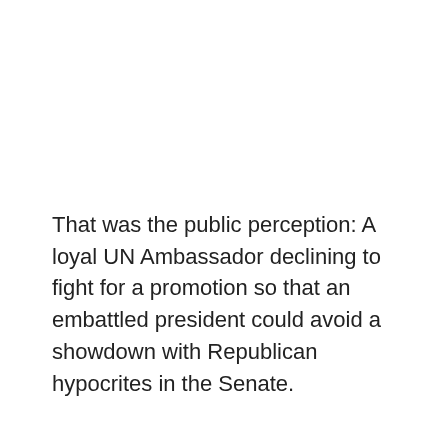That was the public perception: A loyal UN Ambassador declining to fight for a promotion so that an embattled president could avoid a showdown with Republican hypocrites in the Senate.